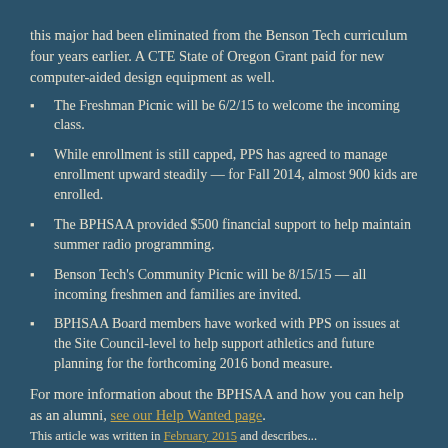this major had been eliminated from the Benson Tech curriculum four years earlier. A CTE State of Oregon Grant paid for new computer-aided design equipment as well.
The Freshman Picnic will be 6/2/15 to welcome the incoming class.
While enrollment is still capped, PPS has agreed to manage enrollment upward steadily — for Fall 2014, almost 900 kids are enrolled.
The BPHSAA provided $500 financial support to help maintain summer radio programming.
Benson Tech's Community Picnic will be 8/15/15 — all incoming freshmen and families are invited.
BPHSAA Board members have worked with PPS on issues at the Site Council-level to help support athletics and future planning for the forthcoming 2016 bond measure.
For more information about the BPHSAA and how you can help as an alumni, see our Help Wanted page.
This article was written in February 2015 and describes...